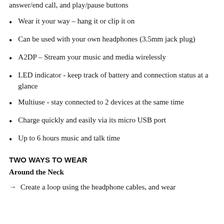answer/end call, and play/pause buttons
Wear it your way – hang it or clip it on
Can be used with your own headphones (3.5mm jack plug)
A2DP – Stream your music and media wirelessly
LED indicator - keep track of battery and connection status at a glance
Multiuse - stay connected to 2 devices at the same time
Charge quickly and easily via its micro USB port
Up to 6 hours music and talk time
TWO WAYS TO WEAR
Around the Neck
→ Create a loop using the headphone cables, and wear